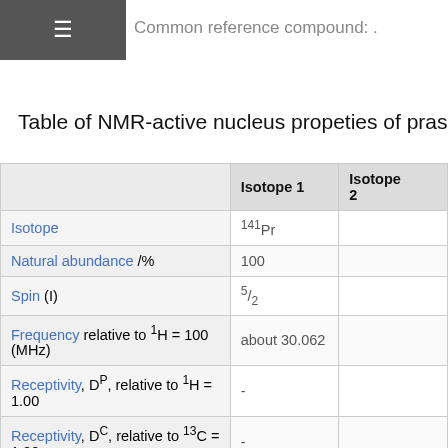≡
Common reference compound: .
Table of NMR-active nucleus propeties of praseodymium
|  | Isotope 1 | Isotope 2 |
| --- | --- | --- |
| Isotope | 141Pr |  |
| Natural abundance /% | 100 |  |
| Spin (I) | 5/2 |  |
| Frequency relative to 1H = 100 (MHz) | about 30.062 |  |
| Receptivity, DP, relative to 1H = 1.00 | - |  |
| Receptivity, DC, relative to 13C = 1.00 | - |  |